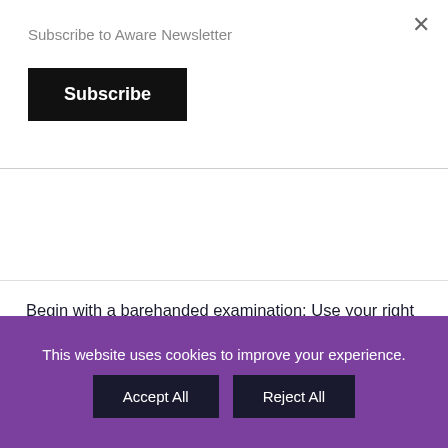Subscribe to Aware Newsletter
Subscribe
Feel your breasts while lying on your back. Place a pillow under your left shoulder or your left arm under your head. It will help to spread the breast tissue over your chest wall.
Begin with a barehanded examination: Use your right hand to feel your left breast. Use a firm, smooth touch with the first few finger pads of your hand, keeping the fingers flat and together. Use a circular motion. Examine every part of
This website uses cookies to improve your experience.
Accept All
Reject All